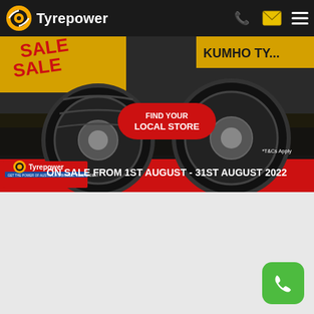Tyrepower
[Figure (illustration): Tyrepower Kumho Tyre Sale promotional banner. Red and yellow sale banner with Kumho tyre branding. Two black tyres visible against a dark road background. Red button reads FIND YOUR LOCAL STORE. Bottom section shows Tyrepower logo with red background and text: ON SALE FROM 1ST AUGUST - 31ST AUGUST 2022. *T&Cs Apply note visible.]
[Figure (illustration): Green rounded square phone/call button in bottom right corner with white telephone handset icon.]